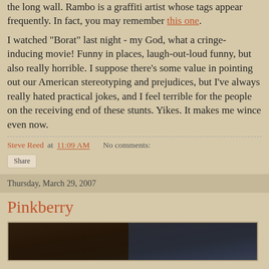the long wall. Rambo is a graffiti artist whose tags appear frequently. In fact, you may remember this one.
I watched "Borat" last night - my God, what a cringe-inducing movie! Funny in places, laugh-out-loud funny, but also really horrible. I suppose there's some value in pointing out our American stereotyping and prejudices, but I've always really hated practical jokes, and I feel terrible for the people on the receiving end of these stunts. Yikes. It makes me wince even now.
Steve Reed at 11:09 AM   No comments:
Share
Thursday, March 29, 2007
Pinkberry
[Figure (photo): Partial view of a dark-toned photograph, appears to show fabric or textured material in dark brown and blue tones]